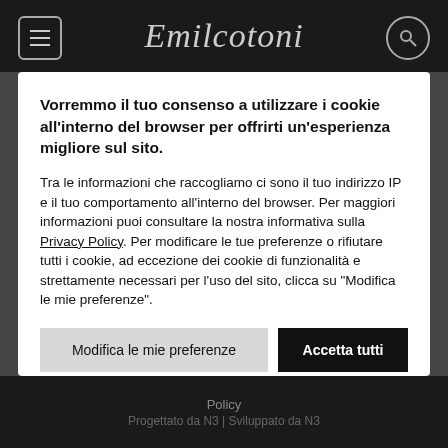Emilcotoni
Vorremmo il tuo consenso a utilizzare i cookie all'interno del browser per offrirti un'esperienza migliore sul sito.
Tra le informazioni che raccogliamo ci sono il tuo indirizzo IP e il tuo comportamento all'interno del browser. Per maggiori informazioni puoi consultare la nostra informativa sulla Privacy Policy. Per modificare le tue preferenze o rifiutare tutti i cookie, ad eccezione dei cookie di funzionalità e strettamente necessari per l'uso del sito, clicca su "Modifica le mie preferenze".
Modifica le mie preferenze
Accetta tutti
Policy
Progettato da N3 | Sviluppato da N3